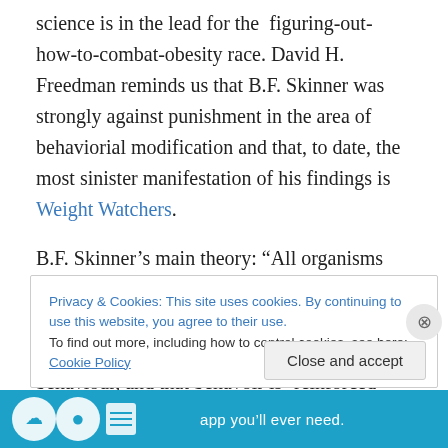science is in the lead for the figuring-out-how-to-combat-obesity race. David H. Freedman reminds us that B.F. Skinner was strongly against punishment in the area of behaviorial modification and that, to date, the most sinister manifestation of his findings is Weight Watchers.
B.F. Skinner’s main theory: “All organisms tend to do what the world around them rewards them for doing. When an organism is in some way prompted to perform a certain behaviour, and that behavoir is ‘reinforced’ – with a pat on the back, nourishment, comfort, money – the organism is
Privacy & Cookies: This site uses cookies. By continuing to use this website, you agree to their use.
To find out more, including how to control cookies, see here: Cookie Policy
Close and accept
[Figure (other): Blue advertisement bar at bottom with icons and text: 'app you’ll ever need.']